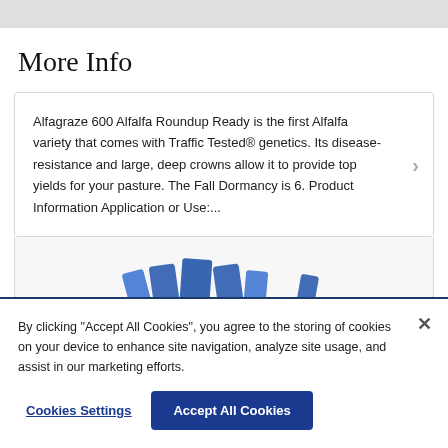More Info
Alfagraze 600 Alfalfa Roundup Ready is the first Alfalfa variety that comes with Traffic Tested® genetics. Its disease-resistance and large, deep crowns allow it to provide top yields for your pasture. The Fall Dormancy is 6. Product Information Application or Use:...
[Figure (photo): Seed bags illustration in blue, partially visible]
By clicking “Accept All Cookies”, you agree to the storing of cookies on your device to enhance site navigation, analyze site usage, and assist in our marketing efforts.
Cookies Settings
Accept All Cookies